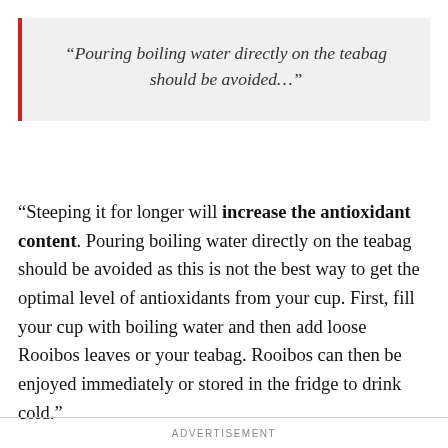“Pouring boiling water directly on the teabag should be avoided…”
“Steeping it for longer will increase the antioxidant content. Pouring boiling water directly on the teabag should be avoided as this is not the best way to get the optimal level of antioxidants from your cup. First, fill your cup with boiling water and then add loose Rooibos leaves or your teabag. Rooibos can then be enjoyed immediately or stored in the fridge to drink cold.”
ADVERTISEMENT